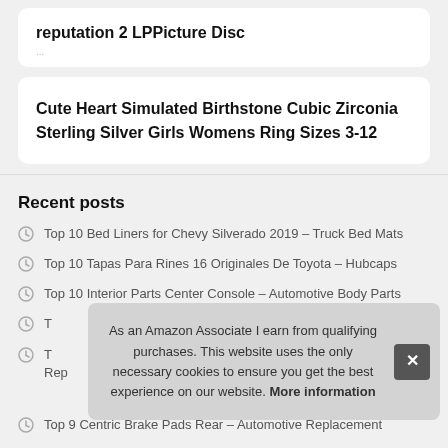reputation 2 LPPicture Disc
Cute Heart Simulated Birthstone Cubic Zirconia Sterling Silver Girls Womens Ring Sizes 3-12
Recent posts
Top 10 Bed Liners for Chevy Silverado 2019 – Truck Bed Mats
Top 10 Tapas Para Rines 16 Originales De Toyota – Hubcaps
Top 10 Interior Parts Center Console – Automotive Body Parts
T…
T… Rep…
Top 9 Centric Brake Pads Rear – Automotive Replacement
As an Amazon Associate I earn from qualifying purchases. This website uses the only necessary cookies to ensure you get the best experience on our website. More information